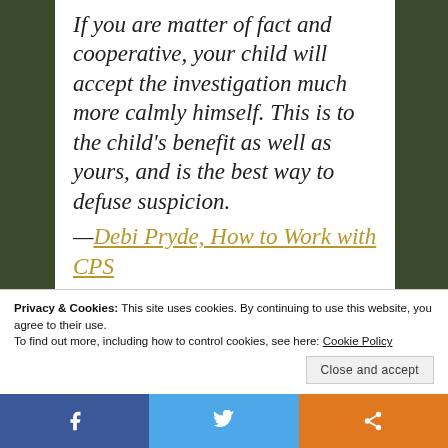If you are matter of fact and cooperative, your child will accept the investigation much more calmly himself. This is to the child's benefit as well as yours, and is the best way to defuse suspicion. —Debi Pryde, How to Work with CPS
Privacy & Cookies: This site uses cookies. By continuing to use this website, you agree to their use. To find out more, including how to control cookies, see here: Cookie Policy